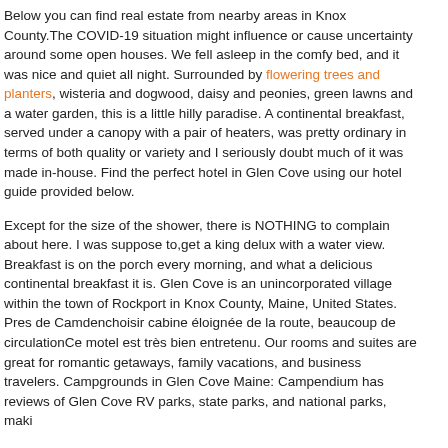Below you can find real estate from nearby areas in Knox County.The COVID-19 situation might influence or cause uncertainty around some open houses. We fell asleep in the comfy bed, and it was nice and quiet all night. Surrounded by flowering trees and planters, wisteria and dogwood, daisy and peonies, green lawns and a water garden, this is a little hilly paradise. A continental breakfast, served under a canopy with a pair of heaters, was pretty ordinary in terms of both quality or variety and I seriously doubt much of it was made in-house. Find the perfect hotel in Glen Cove using our hotel guide provided below.
Except for the size of the shower, there is NOTHING to complain about here. I was suppose to,get a king delux with a water view. Breakfast is on the porch every morning, and what a delicious continental breakfast it is. Glen Cove is an unincorporated village within the town of Rockport in Knox County, Maine, United States. Pres de Camdenchoisir cabine éloignée de la route, beaucoup de circulationCe motel est très bien entretenu. Our rooms and suites are great for romantic getaways, family vacations, and business travelers. Campgrounds in Glen Cove Maine: Campendium has reviews of Glen Cove RV parks, state parks, and national parks, maki